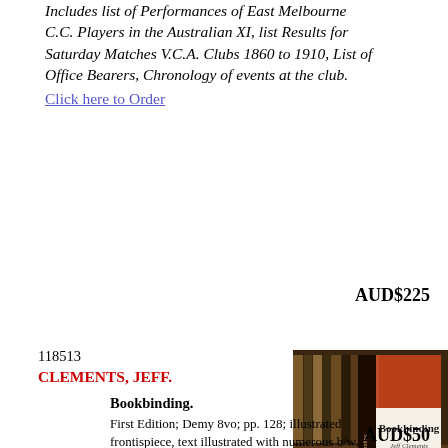Includes list of Performances of East Melbourne C.C. Players in the Australian XI, list Results for Saturday Matches V.C.A. Clubs 1860 to 1910, List of Office Bearers, Chronology of events at the club.
Click here to Order
AUD$225
118513
CLEMENTS, JEFF.
[Figure (photo): Photo of a book titled 'Bookbinding' by Jeff Clements, standing upright showing spine and front cover (red/brown), against a background of bookshelves.]
Bookbinding. First Edition; Demy 8vo; pp. 128; illustrated frontispiece, text illustrated with numerous b/w. photographs and drawings, bibliography, index, bound in original brown cloth, title lettered in gilt on spine, dustjacket, name and tape marks on endpaper otherwise a very good copy. London; Arco Publications; 1963. Click here to Order
AUD$50